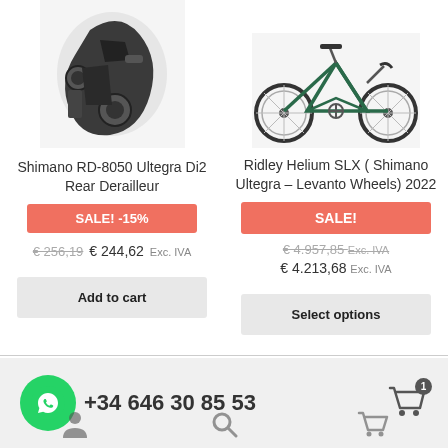[Figure (photo): Shimano RD-8050 Ultegra Di2 Rear Derailleur component photo, black, partial top view]
[Figure (photo): Ridley Helium SLX road bicycle with Shimano Ultegra and Levanto Wheels, side view on white background]
Shimano RD-8050 Ultegra Di2 Rear Derailleur
Ridley Helium SLX ( Shimano Ultegra – Levanto Wheels) 2022
SALE! -15%
SALE!
€ 256,19  € 244,62 Exc. IVA
€ 4.957,85 Exc. IVA  € 4.213,68 Exc. IVA
Add to cart
Select options
+34 646 30 85 53